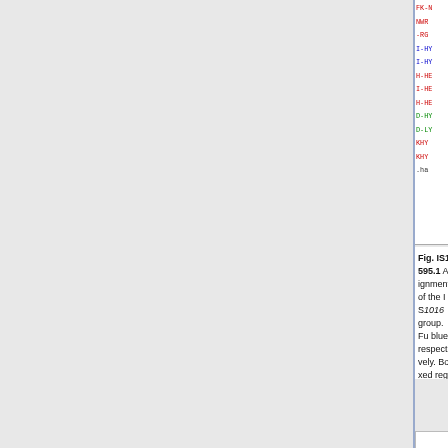[Figure (other): Partial view of a protein sequence alignment for the IS1016 group, showing rows for ISMha4, ISFtu6, IS1016, IS1016C, ISNme4, IS1016C2, ISMha1, IS1016V, ISFtu3, ISFtu7, ISNme2, ISNme3, and Consensus. Residues are colored red, blue, and black. Boxed regions indicate Zinc finger motifs. Blue shaded boxes show additional or alternate features.]
Fig. IS1595.1 Alignment of the IS1016 group. Fu... blue respectively. Boxed regions indicate the Zin... acids. Blue shaded boxes show additional or alte...
[Figure (other): Start of Fig. IS1595.2 showing a Tn logo icon (blue circular C with Tn text) and the beginning of a figure titled 'Alignment...' with blue border box.]